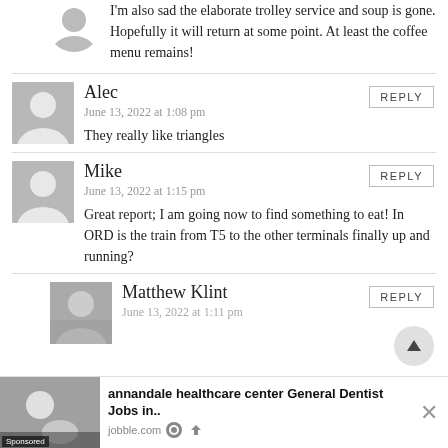I'm also sad the elaborate trolley service and soup is gone. Hopefully it will return at some point. At least the coffee menu remains!
Alec
June 13, 2022 at 1:08 pm
They really like triangles
Mike
June 13, 2022 at 1:15 pm
Great report; I am going now to find something to eat! In ORD is the train from T5 to the other terminals finally up and running?
Matthew Klint
[Figure (photo): Profile photo of Matthew Klint]
annandale healthcare center General Dentist Jobs in...
jobble.com